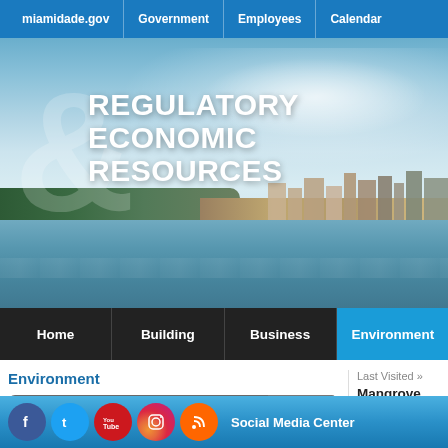miamidade.gov | Government | Employees | Calendar
[Figure (photo): Hero banner image of Biscayne Bay with city skyline, trees, and water. Overlay text reads: & REGULATORY ECONOMIC RESOURCES]
REGULATORY ECONOMIC RESOURCES
Home | Building | Business | Environment
Environment
ONLINE SERVICES
Last Visited »
Mangrove Wetlands
A mangrove wetland can be one...
Social Media Center